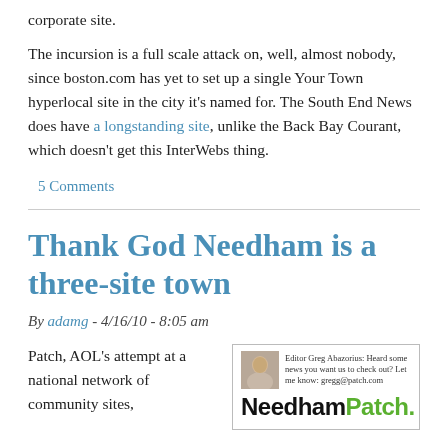corporate site.
The incursion is a full scale attack on, well, almost nobody, since boston.com has yet to set up a single Your Town hyperlocal site in the city it's named for. The South End News does have a longstanding site, unlike the Back Bay Courant, which doesn't get this InterWebs thing.
5 Comments
Thank God Needham is a three-site town
By adamg - 4/16/10 - 8:05 am
Patch, AOL's attempt at a national network of community sites,
[Figure (screenshot): NeedhamPatch website screenshot showing editor Greg Abazorius with contact info and the NeedhamPatch logo]